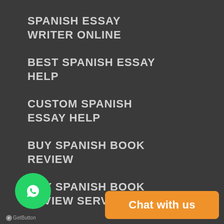SPANISH ESSAY WRITER ONLINE
BEST SPANISH ESSAY HELP
CUSTOM SPANISH ESSAY HELP
BUY SPANISH BOOK REVIEW
BUY SPANISH BOOK REVIEW SERVICES
CUSTOM SPANISH REPORT
[Figure (screenshot): WhatsApp GetButton chat widget with green circular WhatsApp icon and orange 'Chat with us' button]
Chat with us